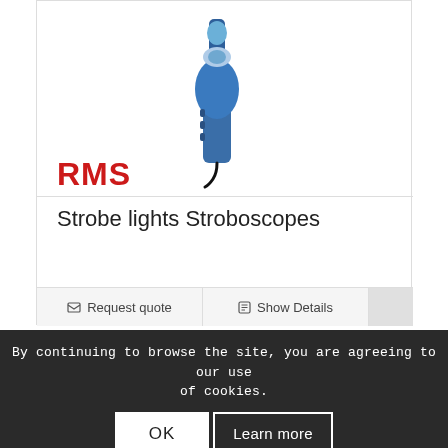[Figure (photo): Blue handheld stroboscope product photo with cable, shown on white background]
[Figure (logo): RMS logo in bold red letters]
Strobe lights Stroboscopes
Request quote
Show Details
By continuing to browse the site, you are agreeing to our use of cookies.
Vibration Analysis
OK
Learn more